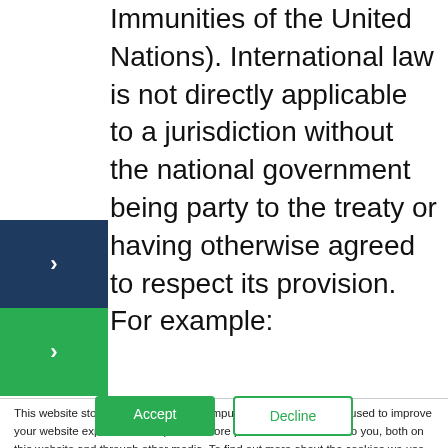Immunities of the United Nations). International law is not directly applicable to a jurisdiction without the national government being party to the treaty or having otherwise agreed to respect its provision. For example:
This website stores cookies on your computer. These cookies are used to improve your website experience and provide more personalized services to you, both on this website and through other media. To find out more about the cookies we use, see our Privacy Policy.
We won't track your information when you visit our site. But in order to comply with your preferences, we'll have to use just one tiny cookie so that you're not asked to make this choice again.